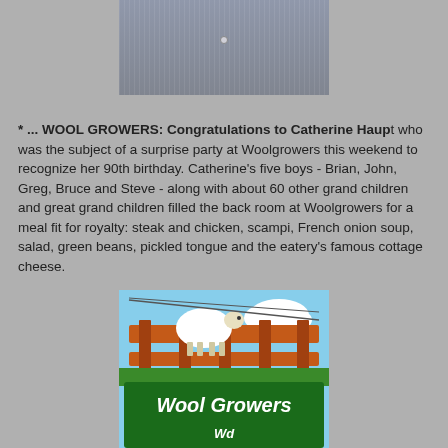[Figure (photo): Partial photo of a person wearing a striped shirt, cropped at the collar/chest area]
* ... WOOL GROWERS: Congratulations to Catherine Haupt who was the subject of a surprise party at Woolgrowers this weekend to recognize her 90th birthday. Catherine's five boys - Brian, John, Greg, Bruce and Steve - along with about 60 other grand children and great grand children filled the back room at Woolgrowers for a meal fit for royalty: steak and chicken, scampi, French onion soup, salad, green beans, pickled tongue and the eatery's famous cottage cheese.
[Figure (photo): Photo of the Wool Growers restaurant sign featuring a white sheep/lamb on a fence rail above a green sign reading 'Wool Growers']